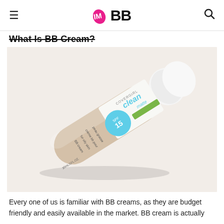IMBB
What Is BB Cream?
[Figure (photo): A CoverGirl Clean Matte BB cream tube (SPF 15) in a light beige shade, lying diagonally on a white surface. The tube shows 'BB cream for oily skin' and volume marking.]
Every one of us is familiar with BB creams, as they are budget friendly and easily available in the market. BB cream is actually